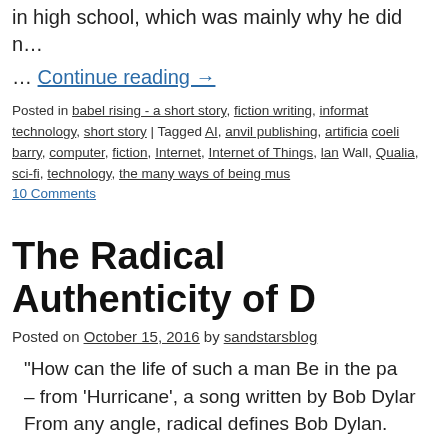in high school, which was mainly why he did n…
… Continue reading →
Posted in babel rising - a short story, fiction writing, informat technology, short story | Tagged AI, anvil publishing, artificia coeli barry, computer, fiction, Internet, Internet of Things, la Wall, Qualia, sci-fi, technology, the many ways of being mus
10 Comments
The Radical Authenticity of D
Posted on October 15, 2016 by sandstarsblog
“How can the life of such a man Be in the pa – from ‘Hurricane’, a song written by Bob Dylar From any angle, radical defines Bob Dylan.
Posted in essay | Tagged bob dylan, canadian broadcasting c a rolling stone, literature, martin bronstein, musical lyricism, songwriting, swedish academy, writing | 2 Comments